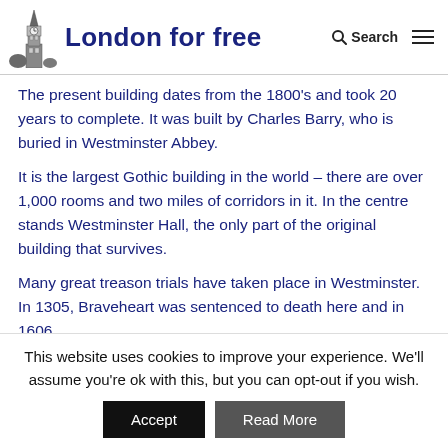London for free
The present building dates from the 1800's and took 20 years to complete. It was built by Charles Barry, who is buried in Westminster Abbey.
It is the largest Gothic building in the world – there are over 1,000 rooms and two miles of corridors in it. In the centre stands Westminster Hall, the only part of the original building that survives.
Many great treason trials have taken place in Westminster. In 1305, Braveheart was sentenced to death here and in 1606
This website uses cookies to improve your experience. We'll assume you're ok with this, but you can opt-out if you wish.
Accept | Read More